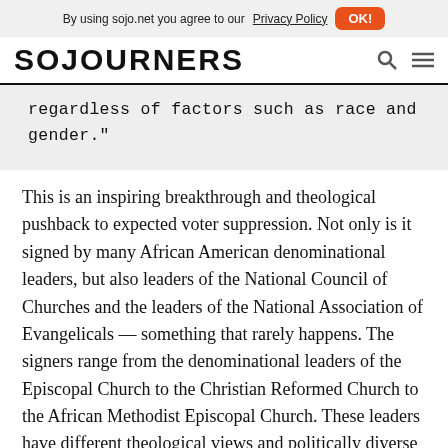By using sojo.net you agree to our Privacy Policy  OK!
SOJOURNERS
regardless of factors such as race and gender."
This is an inspiring breakthrough and theological pushback to expected voter suppression. Not only is it signed by many African American denominational leaders, but also leaders of the National Council of Churches and the leaders of the National Association of Evangelicals — something that rarely happens. The signers range from the denominational leaders of the Episcopal Church to the Christian Reformed Church to the African Methodist Episcopal Church. These leaders have different theological views and politically diverse constituencies. But together, we are standing up and speaking out for protecting our democracy and the image of God in each voter. This letter is the first public sign of a